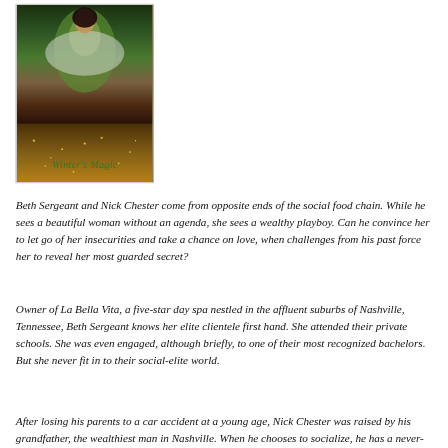[Figure (illustration): Book cover for 'Winter's Magic' showing a woman in a green dress with sparkle/glitter effects at the bottom and decorative text in green italic script]
Beth Sergeant and Nick Chester come from opposite ends of the social food chain. While he sees a beautiful woman without an agenda, she sees a wealthy playboy. Can he convince her to let go of her insecurities and take a chance on love, when challenges from his past force her to reveal her most guarded secret?
Owner of La Bella Vita, a five-star day spa nestled in the affluent suburbs of Nashville, Tennessee, Beth Sergeant knows her elite clientele first hand. She attended their private schools. She was even engaged, although briefly, to one of their most recognized bachelors. But she never fit in to their social-elite world.
After losing his parents to a car accident at a young age, Nick Chester was raised by his grandfather, the wealthiest man in Nashville. When he chooses to socialize, he has a never-ending list of exclusive events and beautiful women vying for his attention. Yet he never lets himself forget that everyone has an agenda.
Beth can't resist Nick's charm and accepts an invitation to dinner, despite her deep-seated insecurities. She proves she's nothing like other women Nick's dated and learns to trust him in return. But just as the last of their resistance crumbles and true love is within reach, challenges from Nick's past threaten to destroy everything and force Beth to reveal her most guarded secret.